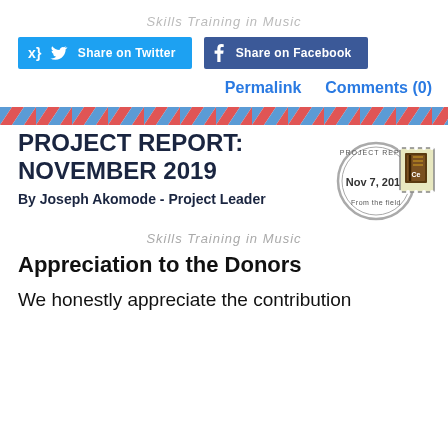Skills Training in Music
[Figure (other): Share on Twitter and Share on Facebook social media buttons]
Permalink    Comments (0)
[Figure (other): Airmail style diagonal red and blue stripe border strip]
PROJECT REPORT: NOVEMBER 2019
[Figure (other): Project Report stamp dated Nov 7, 2019 From the Field, with a book postage stamp icon]
By Joseph Akomode - Project Leader
Skills Training in Music
Appreciation to the Donors
We honestly appreciate the contribution